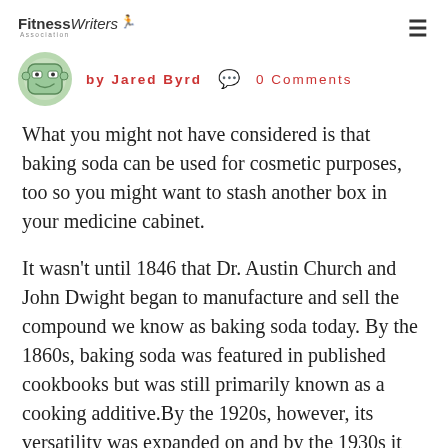FitnessWriters Association
by Jared Byrd  0 Comments
What you might not have considered is that baking soda can be used for cosmetic purposes, too so you might want to stash another box in your medicine cabinet.
It wasn't until 1846 that Dr. Austin Church and John Dwight began to manufacture and sell the compound we know as baking soda today. By the 1860s, baking soda was featured in published cookbooks but was still primarily known as a cooking additive.By the 1920s, however, its versatility was expanded on and by the 1930s it